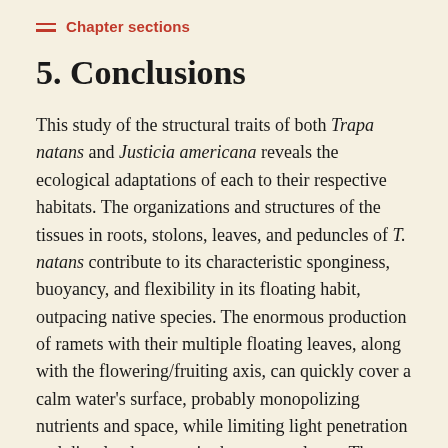Chapter sections
5. Conclusions
This study of the structural traits of both Trapa natans and Justicia americana reveals the ecological adaptations of each to their respective habitats. The organizations and structures of the tissues in roots, stolons, leaves, and peduncles of T. natans contribute to its characteristic sponginess, buoyancy, and flexibility in its floating habit, outpacing native species. The enormous production of ramets with their multiple floating leaves, along with the flowering/fruiting axis, can quickly cover a calm water's surface, probably monopolizing nutrients and space, while limiting light penetration and dissolved oxygen in the water column. The abundant adventitious roots undoubtedly aid in the